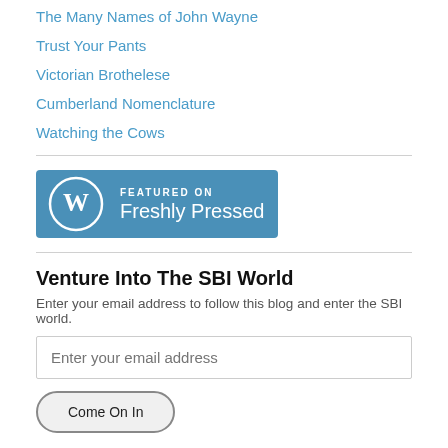The Many Names of John Wayne
Trust Your Pants
Victorian Brothelese
Cumberland Nomenclature
Watching the Cows
[Figure (logo): WordPress 'Featured on Freshly Pressed' badge — blue rectangle with WordPress logo circle on left, white text 'FEATURED ON Freshly Pressed' on right]
Venture Into The SBI World
Enter your email address to follow this blog and enter the SBI world.
Enter your email address
Come On In